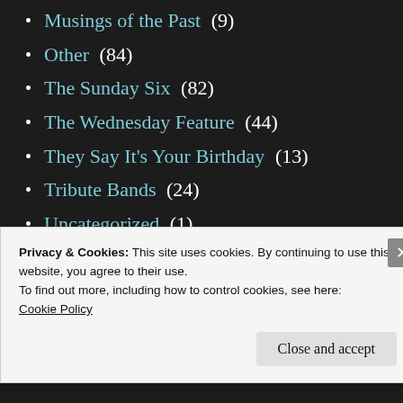Musings of the Past (9)
Other (84)
The Sunday Six (82)
The Wednesday Feature (44)
They Say It's Your Birthday (13)
Tribute Bands (24)
Uncategorized (1)
What I've Been Listening To... (122)
Year In Review (13)
Privacy & Cookies: This site uses cookies. By continuing to use this website, you agree to their use.
To find out more, including how to control cookies, see here: Cookie Policy
Close and accept